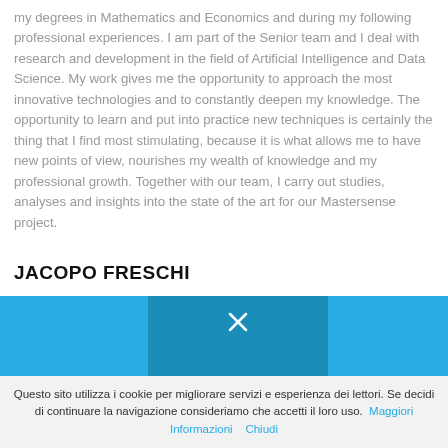my degrees in Mathematics and Economics and during my following professional experiences. I am part of the Senior team and I deal with research and development in the field of Artificial Intelligence and Data Science. My work gives me the opportunity to approach the most innovative technologies and to constantly deepen my knowledge. The opportunity to learn and put into practice new techniques is certainly the thing that I find most stimulating, because it is what allows me to have new points of view, nourishes my wealth of knowledge and my professional growth. Together with our team, I carry out studies, analyses and insights into the state of the art for our Mastersense project.
JACOPO FRESCHI
[Figure (screenshot): Video player area in blue with a close (X) button in the center-top and 'Player error' text at the bottom center. The player is displayed in three sections: left blue panel, darker center panel with X button, right blue panel.]
Questo sito utilizza i cookie per migliorare servizi e esperienza dei lettori. Se decidi di continuare la navigazione consideriamo che accetti il loro uso. Maggiori Informazioni   Chiudi